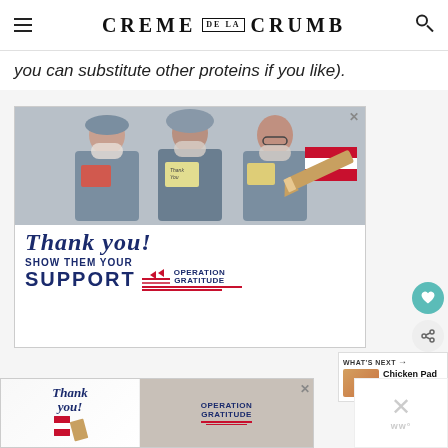CREME DE LA CRUMB
you can substitute other proteins if you like).
[Figure (photo): Advertisement for Operation Gratitude showing three healthcare workers in scrubs and masks holding thank-you cards, with text 'Thank you! SHOW THEM YOUR SUPPORT OPERATION GRATITUDE']
[Figure (photo): Second smaller advertisement for Operation Gratitude at the bottom of the page showing thank you text and military imagery]
WHAT'S NEXT → Chicken Pad Thai